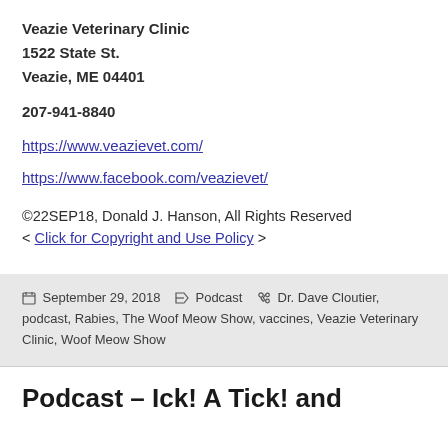Veazie Veterinary Clinic
1522 State St.
Veazie, ME 04401
207-941-8840
https://www.veazievet.com/
https://www.facebook.com/veazievet/
©22SEP18, Donald J. Hanson, All Rights Reserved
< Click for Copyright and Use Policy >
Posted September 29, 2018  Categories Podcast  Tags Dr. Dave Cloutier, podcast, Rabies, The Woof Meow Show, vaccines, Veazie Veterinary Clinic, Woof Meow Show
Podcast – Ick! A Tick! and